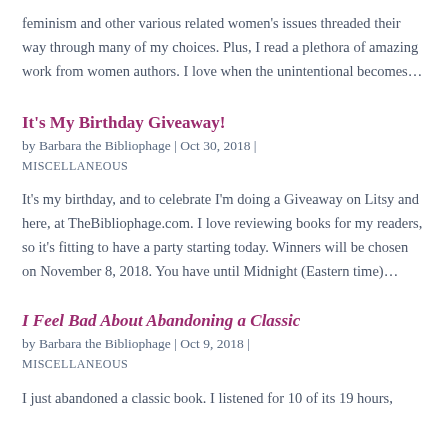feminism and other various related women's issues threaded their way through many of my choices. Plus, I read a plethora of amazing work from women authors. I love when the unintentional becomes…
It's My Birthday Giveaway!
by Barbara the Bibliophage | Oct 30, 2018 | MISCELLANEOUS
It's my birthday, and to celebrate I'm doing a Giveaway on Litsy and here, at TheBibliophage.com. I love reviewing books for my readers, so it's fitting to have a party starting today. Winners will be chosen on November 8, 2018. You have until Midnight (Eastern time)…
I Feel Bad About Abandoning a Classic
by Barbara the Bibliophage | Oct 9, 2018 | MISCELLANEOUS
I just abandoned a classic book. I listened for 10 of its 19 hours,